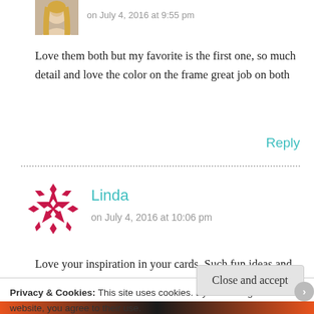[Figure (photo): Small square avatar photo of a person with blonde hair, partially visible at top of page]
on July 4, 2016 at 9:55 pm
Love them both but my favorite is the first one, so much detail and love the color on the frame great job on both
Reply
[Figure (logo): Red/pink snowflake-style star logo for Linda's avatar]
Linda
on July 4, 2016 at 10:06 pm
Love your inspiration in your cards. Such fun ideas and the bright colors are awesome!
Privacy & Cookies: This site uses cookies. By continuing to use this website, you agree to their use.
To find out more, including how to control cookies, see here: Cookie Policy
Close and accept